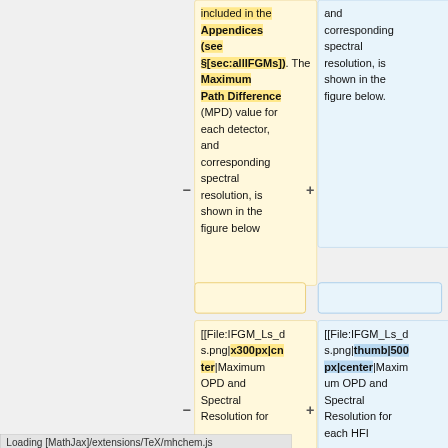included in the Appendices (see §[sec:allIFGMs]). The Maximum Path Difference (MPD) value for each detector, and corresponding spectral resolution, is shown in the figure below
and corresponding spectral resolution, is shown in the figure below.
[[File:IFGM_Ls_ds.png|x300px|center|Maximum OPD and Spectral Resolution for
[[File:IFGM_Ls_ds.png|thumb|500px|center|Maximum OPD and Spectral Resolution for each HFI
Loading [MathJax]/extensions/TeX/mhchem.js